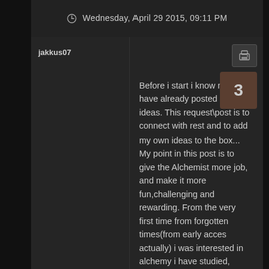Wednesday, April 29 2015, 09:11 PM
jakkus07
Before i start i know many have already posted similiar ideas. This request\post is to connect with rest and to add my own ideas to the box...
My point in this post is to give the Alchemist more job, and make it more fun,challenging and rewarding. From the very first time from forgotten times(from early acces actually) i was interested in alchemy i have studied, learned it and found the mechanic awesome!... But in comparison to Farmer tree or other trees i found